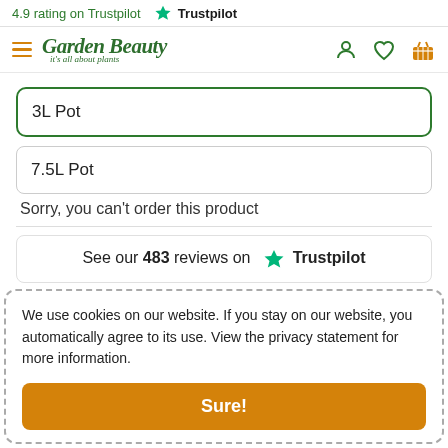4.9 rating on Trustpilot  ★ Trustpilot
[Figure (logo): Garden Beauty logo with tagline 'it's all about plants' and hamburger menu icon]
3L Pot
7.5L Pot
Sorry, you can't order this product
See our 483 reviews on ★ Trustpilot
We use cookies on our website. If you stay on our website, you automatically agree to its use. View the privacy statement for more information.
Sure!